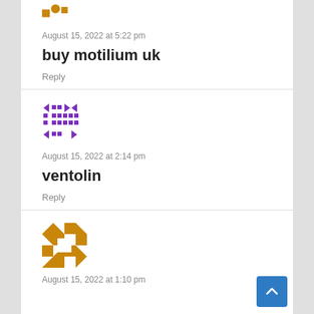[Figure (illustration): Partial avatar image (orange/brown geometric pattern) cropped at top]
August 15, 2022 at 5:22 pm
buy motilium uk
Reply
[Figure (illustration): Avatar with purple geometric/pixel pattern squares and arrows]
August 15, 2022 at 2:14 pm
ventolin
Reply
[Figure (illustration): Avatar with orange/brown and white diagonal geometric pattern]
August 15, 2022 at 1:10 pm